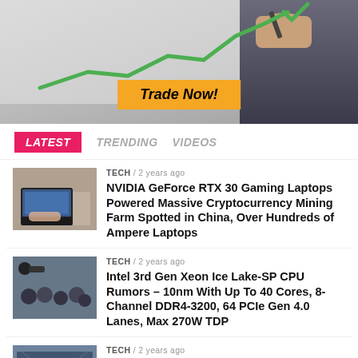[Figure (photo): Advertisement banner showing a hand drawing a rising green stock chart line with a 'Trade Now!' orange button]
LATEST   TRENDING   VIDEOS
TECH / 2 years ago — NVIDIA GeForce RTX 30 Gaming Laptops Powered Massive Cryptocurrency Mining Farm Spotted in China, Over Hundreds of Ampere Laptops
TECH / 2 years ago — Intel 3rd Gen Xeon Ice Lake-SP CPU Rumors – 10nm With Up To 40 Cores, 8-Channel DDR4-3200, 64 PCIe Gen 4.0 Lanes, Max 270W TDP
TECH / 2 years ago — Intel's Raja Koduri Teases Xe HPG Enthusiast Gaming Graphics Cards In Action Within 3DMark Mesh Shader Test, Launch Imminent?